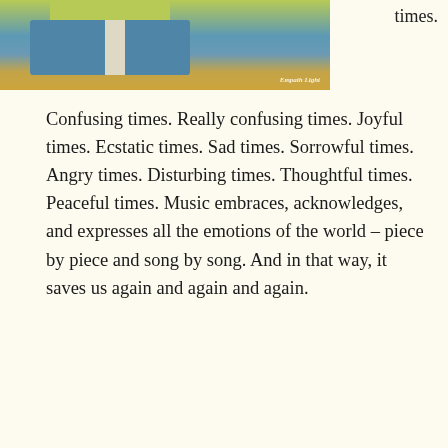[Figure (photo): Photo of a person wearing a colorful vest with yellow, blue, and white colors, outdoors with yellow autumn foliage in the background. Watermark reads 'Empath Light'.]
times.
Confusing times. Really confusing times. Joyful times. Ecstatic times. Sad times. Sorrowful times. Angry times. Disturbing times. Thoughtful times. Peaceful times. Music embraces, acknowledges, and expresses all the emotions of the world – piece by piece and song by song. And in that way, it saves us again and again and again.
I don't know about you, but I'm listening to music a LOT every day. Sometimes quietly. Sometimes at a deafening volume. Sometimes plugged in. Sometimes out loud. Why so much NOW? To feel the feelings without exploding. That pretty much explains it.